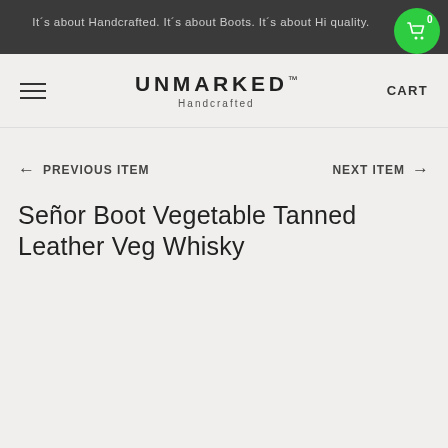It´s about Handcrafted. It´s about Boots. It´s about Hi... quality.
[Figure (logo): UNMARKED Handcrafted logo with hamburger menu and CART text navigation]
← PREVIOUS ITEM    NEXT ITEM →
Señor Boot Vegetable Tanned Leather Veg Whisky